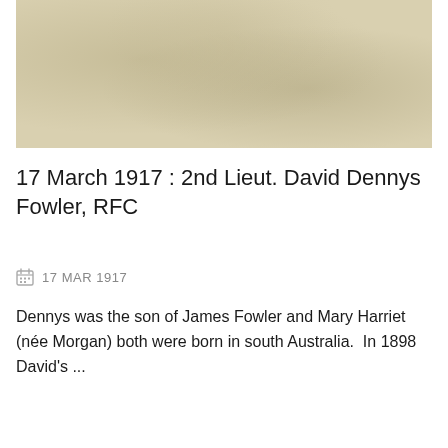[Figure (photo): Aged sepia-toned photograph or document with a beige/tan background, showing faint textural marks and discoloration typical of old paper or a vintage photograph.]
17 March 1917 : 2nd Lieut. David Dennys Fowler, RFC
17 MAR 1917
Dennys was the son of James Fowler and Mary Harriet (née Morgan) both were born in south Australia.  In 1898 David's ...